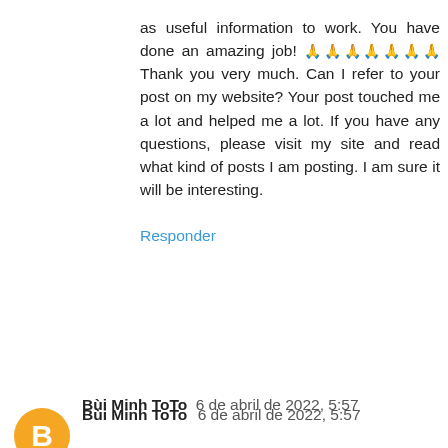as useful information to work. You have done an amazing job! 🙏🙏🙏🙏🙏🙏🙏 Thank you very much. Can I refer to your post on my website? Your post touched me a lot and helped me a lot. If you have any questions, please visit my site and read what kind of posts I am posting. I am sure it will be interesting.
Responder
Bùi Minh ToTo  6 de abril de 2022, 5:57
This is very interesting news, i like this article
Công ty TNHH Thương Mại Bùi Minh với kinh nghiệm gần 10 năm chuyên cung cấp thiết bị vệ sinh. Bùi Minh luôn đảm bảo mang đến khách hàng những sản phẩm chính hãng, chất lượng cao. Nhận được sự yêu thích và ủng hộ của khách hàng.
bồn tắm massage
Top Gạch
American Standard
Youtube Bùi Minh
phòng tắm
Responder